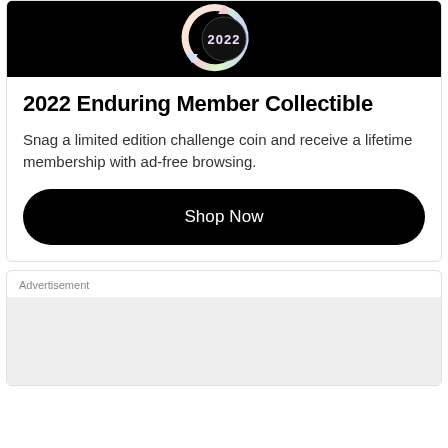[Figure (illustration): Black background with a circular badge/coin showing '2022' text with colorful pastel arrow design around it]
2022 Enduring Member Collectible
Snag a limited edition challenge coin and receive a lifetime membership with ad-free browsing.
Shop Now
Advertisement